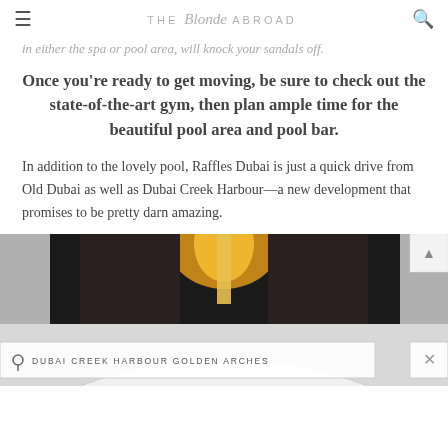THE Blonde ABROAD
in either the spa or pool area, will knock your sandals off.
Once you're ready to get moving, be sure to check out the state-of-the-art gym, then plan ample time for the beautiful pool area and pool bar.
In addition to the lovely pool, Raffles Dubai is just a quick drive from Old Dubai as well as Dubai Creek Harbour—a new development that promises to be pretty darn amazing.
[Figure (photo): Photo of Dubai Creek Harbour Golden Arches architectural feature with golden metallic arch structure against dark background, with white arch visible below. Caption bar reads: DUBAI CREEK HARBOUR GOLDEN ARCHES]